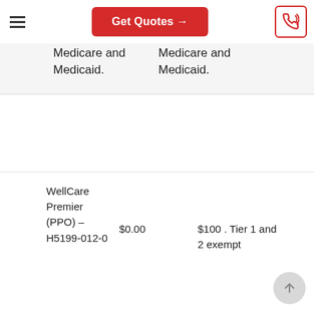Get Quotes →
| Plan Name | Premium | Drug Deductible |
| --- | --- | --- |
|  | Medicare and Medicaid. | Medicare and Medicaid. |
| WellCare Premier (PPO) – H5199-012-0 | $0.00 | $100 . Tier 1 and 2 exempt |